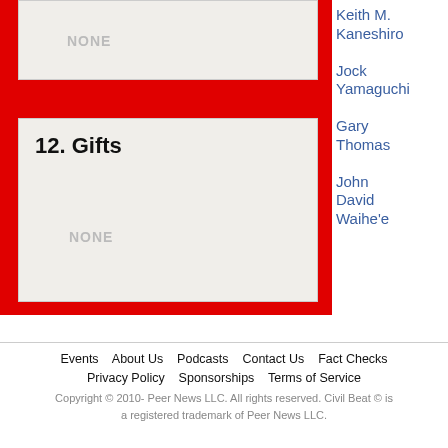NONE
12. Gifts
NONE
Keith M. Kaneshiro
Jock Yamaguchi
Gary Thomas
John David Waihe'e
Events   About Us   Podcasts   Contact Us   Fact Checks   Privacy Policy   Sponsorships   Terms of Service   Copyright © 2010- Peer News LLC. All rights reserved. Civil Beat © is a registered trademark of Peer News LLC.